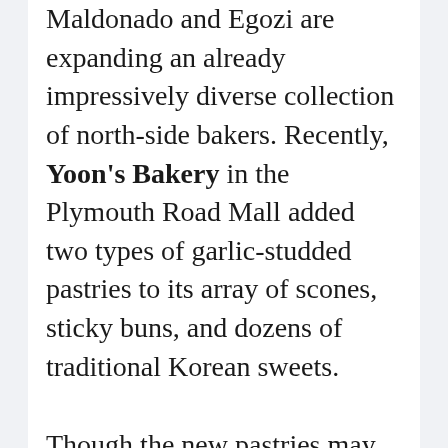Maldonado and Egozi are expanding an already impressively diverse collection of north-side bakers. Recently, Yoon's Bakery in the Plymouth Road Mall added two types of garlic-studded pastries to its array of scones, sticky buns, and dozens of traditional Korean sweets.
Though the new pastries may seem like a departure from Yoon's original offerings, South Koreans rank among the highest consumers of garlic in the world, eating eighteen